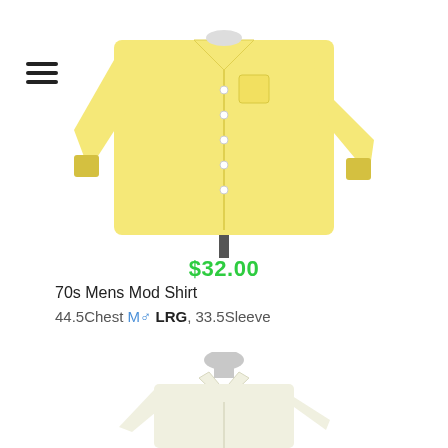[Figure (photo): Yellow long-sleeve men's dress shirt displayed on a mannequin/dress form against a white background]
$32.00
70s Mens Mod Shirt
44.5Chest M♂ LRG, 33.5Sleeve
[Figure (photo): White/cream long-sleeve men's dress shirt displayed on a mannequin/dress form against a white background, partially visible at bottom of page]